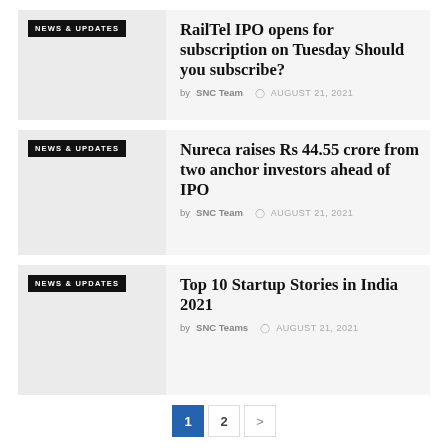RailTel IPO opens for subscription on Tuesday Should you subscribe?
by SNC Team  AUGUST 21, 2021
Nureca raises Rs 44.55 crore from two anchor investors ahead of IPO
by SNC Team  AUGUST 21, 2021
Top 10 Startup Stories in India 2021
by SNC Teams  AUGUST 21, 2021
1  2  >